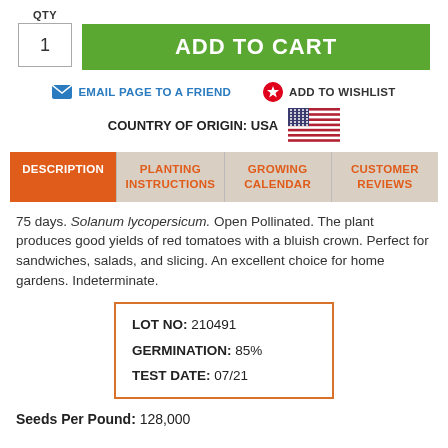QTY
1
ADD TO CART
EMAIL PAGE TO A FRIEND
ADD TO WISHLIST
COUNTRY OF ORIGIN: USA
| DESCRIPTION | PLANTING INSTRUCTIONS | GROWING CALENDAR | CUSTOMER REVIEWS |
| --- | --- | --- | --- |
75 days. Solanum lycopersicum. Open Pollinated. The plant produces good yields of red tomatoes with a bluish crown. Perfect for sandwiches, salads, and slicing. An excellent choice for home gardens. Indeterminate.
LOT NO: 210491
GERMINATION: 85%
TEST DATE: 07/21
Seeds Per Pound: 128,000